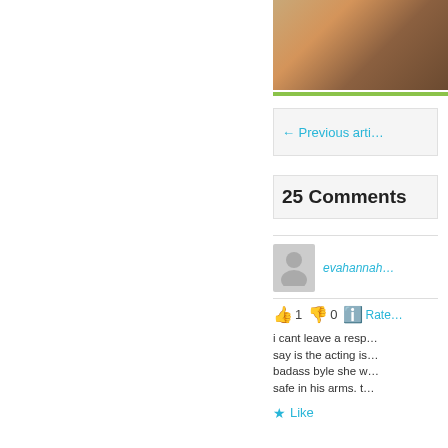[Figure (photo): Partial photo of a dog or animal, cropped in the top-right area of the page]
← Previous arti…
25 Comments
evahannah…
👍 1 👎 0 ℹ Rate…
i cant leave a resp… say is the acting is… badass byle she w… safe in his arms. t…
★ Like